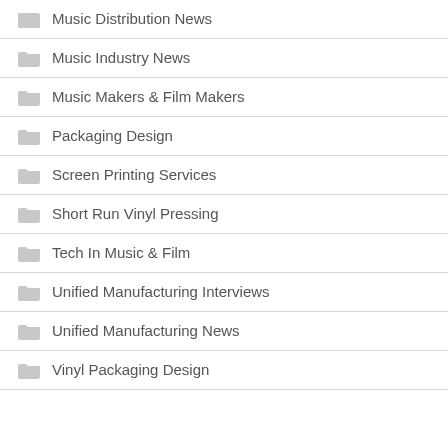Music Distribution News
Music Industry News
Music Makers & Film Makers
Packaging Design
Screen Printing Services
Short Run Vinyl Pressing
Tech In Music & Film
Unified Manufacturing Interviews
Unified Manufacturing News
Vinyl Packaging Design